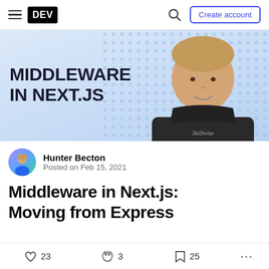DEV — Create account
[Figure (illustration): Hero banner with text MIDDLEWARE IN NEXT.JS on light blue dotted background with a man in a dark hoodie labeled Skillwise]
Hunter Becton
Posted on Feb 15, 2021
Middleware in Next.js: Moving from Express
23 likes  3 reactions  25 bookmarks  ...